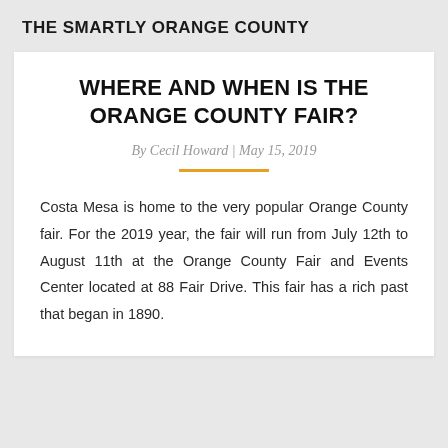THE SMARTLY ORANGE COUNTY
WHERE AND WHEN IS THE ORANGE COUNTY FAIR?
By Cecil Howard | May 15, 2019
Costa Mesa is home to the very popular Orange County fair. For the 2019 year, the fair will run from July 12th to August 11th at the Orange County Fair and Events Center located at 88 Fair Drive. This fair has a rich past that began in 1890.